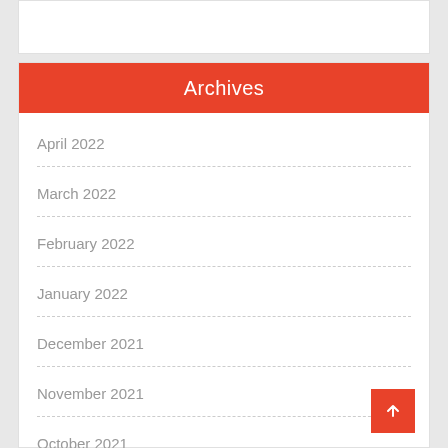Archives
April 2022
March 2022
February 2022
January 2022
December 2021
November 2021
October 2021
September 2021
August 2021